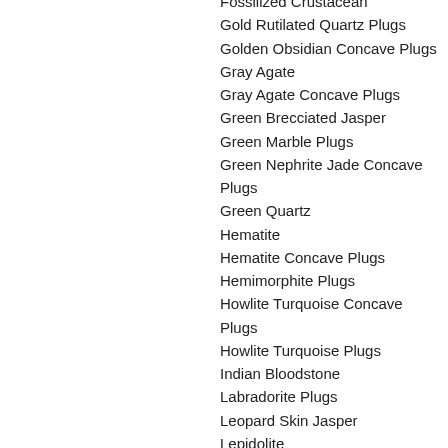Fossilized Crustacean
Gold Rutilated Quartz Plugs
Golden Obsidian Concave Plugs
Gray Agate
Gray Agate Concave Plugs
Green Brecciated Jasper
Green Marble Plugs
Green Nephrite Jade Concave Plugs
Green Quartz
Hematite
Hematite Concave Plugs
Hemimorphite Plugs
Howlite Turquoise Concave Plugs
Howlite Turquoise Plugs
Indian Bloodstone
Labradorite Plugs
Leopard Skin Jasper
Lepidolite
Malachite Concave Plugs
Moss Agate
New Jade
Opalite
Orange Creamsicle Diorite Plugs
Peanut Wood
Picasso Jasper
Pink Snake Skin Jasper Concave Plugs